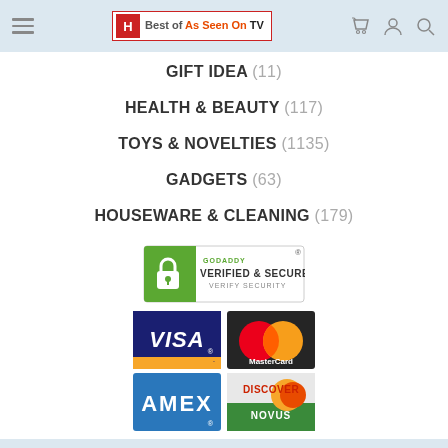Best of As Seen On TV
GIFT IDEA (11)
HEALTH & BEAUTY (117)
TOYS & NOVELTIES (1135)
GADGETS (63)
HOUSEWARE & CLEANING (179)
[Figure (logo): GoDaddy Verified & Secured seal]
[Figure (logo): Payment method logos: VISA, MasterCard, AMEX, Discover Novus]